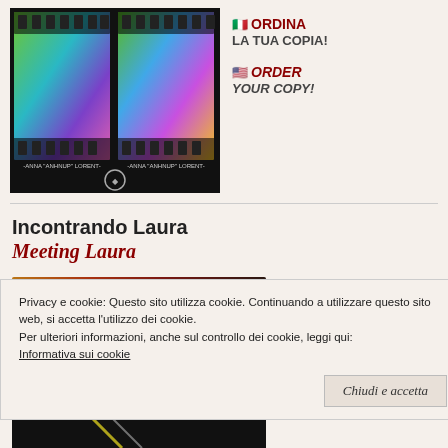[Figure (photo): Book cover image showing film strips with colorful backgrounds (green, blue, purple, yellow), two side-by-side covers, with author name text and a seal/logo at bottom]
🇮🇹 ORDINA
LA TUA COPIA!
🇺🇸 ORDER
YOUR COPY!
Incontrando Laura
Meeting Laura
[Figure (photo): Partial book cover strip showing warm orange/red/dark tones]
Privacy e cookie: Questo sito utilizza cookie. Continuando a utilizzare questo sito web, si accetta l'utilizzo dei cookie.
Per ulteriori informazioni, anche sul controllo dei cookie, leggi qui:
Informativa sui cookie
Chiudi e accetta
[Figure (photo): Bottom partial book cover strip with dark background and partial light/figure visible]